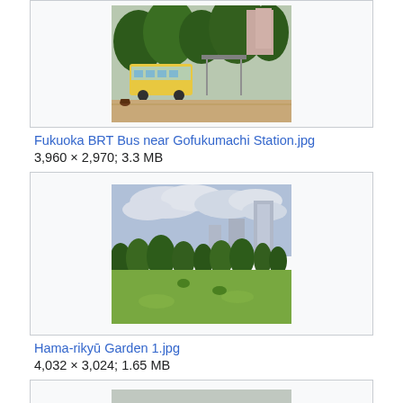[Figure (photo): Photo of Fukuoka BRT Bus near Gofukumachi Station, showing a bus stop area with trees and paved ground]
Fukuoka BRT Bus near Gofukumachi Station.jpg
3,960 × 2,970; 3.3 MB
[Figure (photo): Photo of Hama-rikyū Garden showing green lawn, trees, and city buildings in the background under cloudy sky]
Hama-rikyū Garden 1.jpg
4,032 × 3,024; 1.65 MB
[Figure (photo): Partial view of a third photo at the bottom of the page, partially cut off]